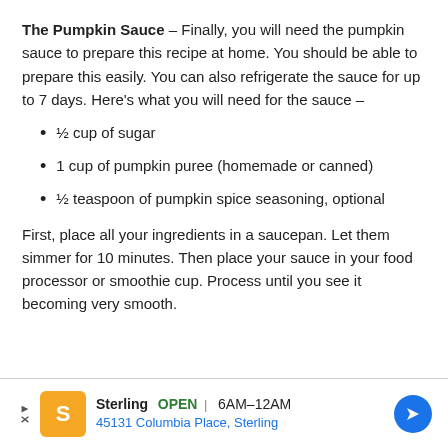The Pumpkin Sauce – Finally, you will need the pumpkin sauce to prepare this recipe at home. You should be able to prepare this easily. You can also refrigerate the sauce for up to 7 days. Here's what you will need for the sauce –
½ cup of sugar
1 cup of pumpkin puree (homemade or canned)
½ teaspoon of pumpkin spice seasoning, optional
First, place all your ingredients in a saucepan. Let them simmer for 10 minutes. Then place your sauce in your food processor or smoothie cup. Process until you see it becoming very smooth.
[Figure (other): Advertisement banner for Sterling restaurant: orange logo icon, play/close buttons, name 'Sterling', OPEN 6AM–12AM, address 45131 Columbia Place, Sterling, blue direction arrow icon]